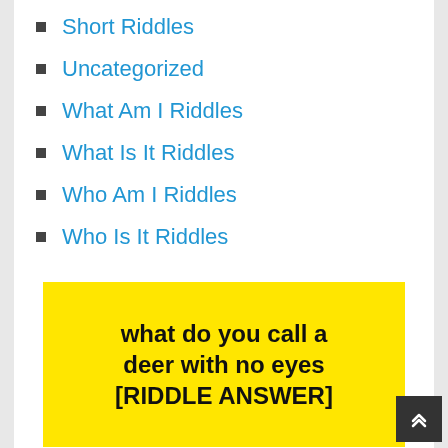Short Riddles
Uncategorized
What Am I Riddles
What Is It Riddles
Who Am I Riddles
Who Is It Riddles
[Figure (illustration): Yellow background image with bold black text reading: what do you call a deer with no eyes [RIDDLE ANSWER]]
what do you call a deer with no eyes